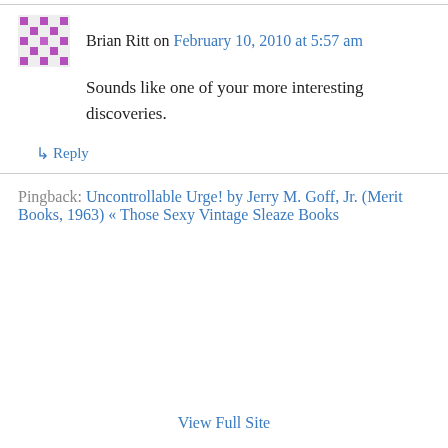Brian Ritt on February 10, 2010 at 5:57 am
Sounds like one of your more interesting discoveries.
↳ Reply
Pingback: Uncontrollable Urge! by Jerry M. Goff, Jr. (Merit Books, 1963) « Those Sexy Vintage Sleaze Books
View Full Site